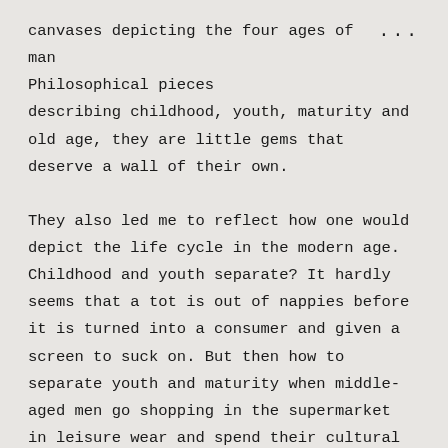canvases depicting the four ages of man Philosophical pieces
describing childhood, youth, maturity and old age, they are little gems that deserve a wall of their own.
They also led me to reflect how one would depict the life cycle in the modern age. Childhood and youth separate? It hardly seems that a tot is out of nappies before it is turned into a consumer and given a screen to suck on. But then how to separate youth and maturity when middle-aged men go shopping in the supermarket in leisure wear and spend their cultural